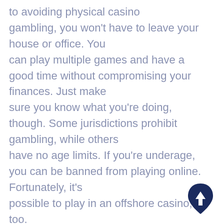to avoiding physical casino gambling, you won't have to leave your house or office. You can play multiple games and have a good time without compromising your finances. Just make sure you know what you're doing, though. Some jurisdictions prohibit gambling, while others have no age limits. If you're underage, you can be banned from playing online. Fortunately, it's possible to play in an offshore casino, too. As the popularity of online casinos increases, there are also more risks. Some websites do not have sufficient security. You should check whether you're allowed to gamble in a particular country. This is the most common way to avoid being cheated. Most online casinos are safe to
[Figure (other): A dark navy blue teardrop/shield shaped button with a white upward arrow icon, used as a scroll-to-top button]